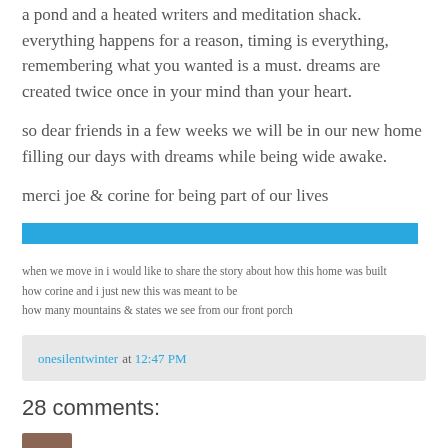a pond and a heated writers and meditation shack. everything happens for a reason, timing is everything, remembering what you wanted is a must. dreams are created twice once in your mind than your heart.
so dear friends in a few weeks we will be in our new home filling our days with dreams while being wide awake.
merci joe & corine for being part of our lives
I also would like to wish my father a happy 65th birthday!
when we move in i would like to share the story about how this home was built
how corine and i just new this was meant to be
how many mountains & states we see from our front porch
onesilentwinter at 12:47 PM
28 comments:
cindy* April 9, 2011 at 1:00 PM